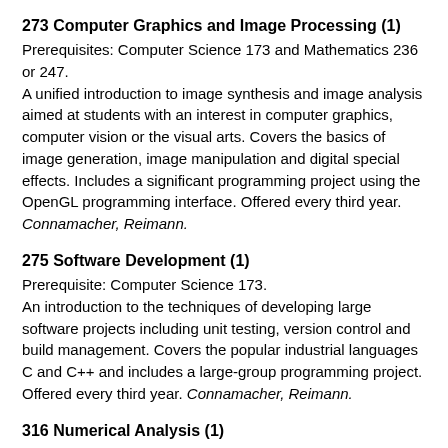273 Computer Graphics and Image Processing (1)
Prerequisites: Computer Science 173 and Mathematics 236 or 247.
A unified introduction to image synthesis and image analysis aimed at students with an interest in computer graphics, computer vision or the visual arts. Covers the basics of image generation, image manipulation and digital special effects. Includes a significant programming project using the OpenGL programming interface. Offered every third year. Connamacher, Reimann.
275 Software Development (1)
Prerequisite: Computer Science 173.
An introduction to the techniques of developing large software projects including unit testing, version control and build management. Covers the popular industrial languages C and C++ and includes a large-group programming project. Offered every third year. Connamacher, Reimann.
316 Numerical Analysis (1)
Prerequisites: Mathematics 236 or 247, and Computer Science 171.
Methods of obtaining numerical solutions to mathematical problems. Stress on the implementation and error analysis of